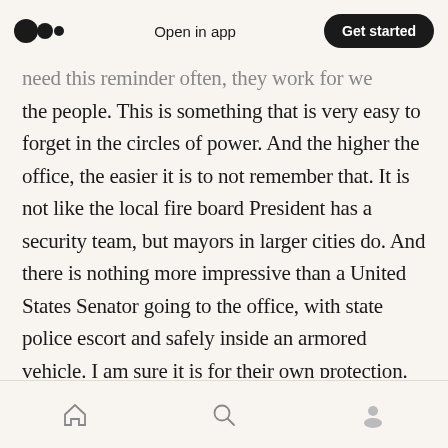Open in app | Get started
need this reminder often, they work for we the people. This is something that is very easy to forget in the circles of power. And the higher the office, the easier it is to not remember that. It is not like the local fire board President has a security team, but mayors in larger cities do. And there is nothing more impressive than a United States Senator going to the office, with state police escort and safely inside an armored vehicle. I am sure it is for their own protection. However, that bubble means these people are unaware of how you live. And their pay is
Home | Search | Profile